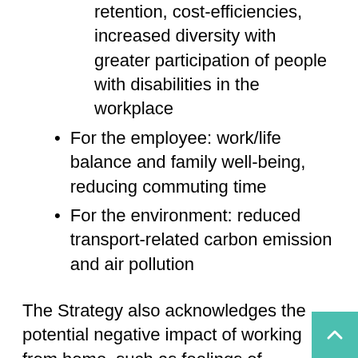retention, cost-efficiencies, increased diversity with greater participation of people with disabilities in the workplace
For the employee: work/life balance and family well-being, reducing commuting time
For the environment: reduced transport-related carbon emission and air pollution
The Strategy also acknowledges the potential negative impact of working from home, such as feelings of isolation. The Strategy intends to reap the many benefits